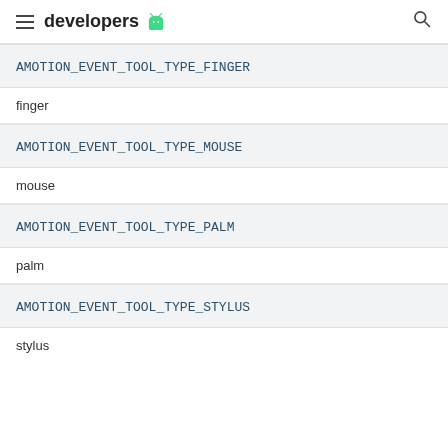developers
AMOTION_EVENT_TOOL_TYPE_FINGER
finger
AMOTION_EVENT_TOOL_TYPE_MOUSE
mouse
AMOTION_EVENT_TOOL_TYPE_PALM
palm
AMOTION_EVENT_TOOL_TYPE_STYLUS
stylus